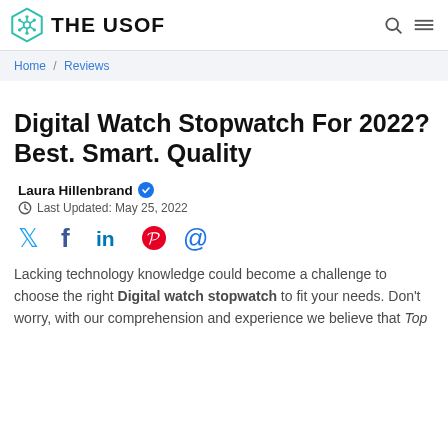THE USOF
Home / Reviews
Digital Watch Stopwatch For 2022? Best. Smart. Quality
Laura Hillenbrand ✪
Last Updated: May 25, 2022
[Figure (infographic): Social share icons: Twitter, Facebook, LinkedIn, Pinterest, Email]
Lacking technology knowledge could become a challenge to choose the right Digital watch stopwatch to fit your needs. Don't worry, with our comprehension and experience we believe that Top